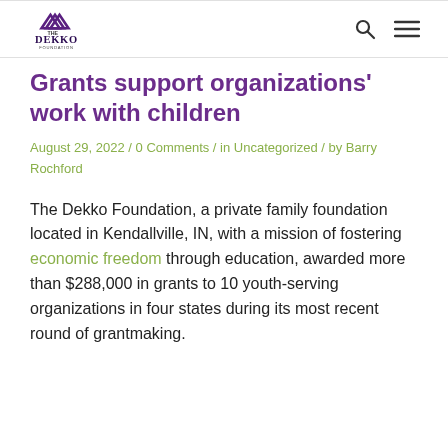The Dekko Foundation
Grants support organizations' work with children
August 29, 2022 / 0 Comments / in Uncategorized / by Barry Rochford
The Dekko Foundation, a private family foundation located in Kendallville, IN, with a mission of fostering economic freedom through education, awarded more than $288,000 in grants to 10 youth-serving organizations in four states during its most recent round of grantmaking.